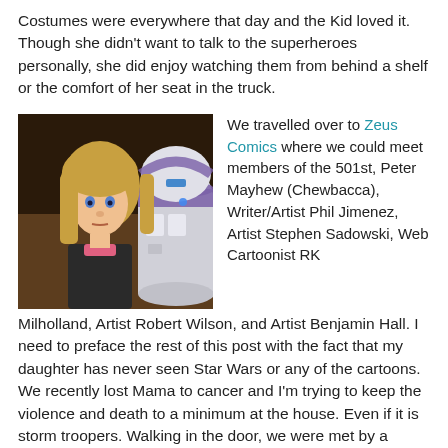Costumes were everywhere that day and the Kid loved it. Though she didn't want to talk to the superheroes personally, she did enjoy watching them from behind a shelf or the comfort of her seat in the truck.
[Figure (photo): A young blonde girl standing next to a large purple and white R2D2-style robot/droid at what appears to be a comic convention or store.]
We travelled over to Zeus Comics where we could meet members of the 501st, Peter Mayhew (Chewbacca), Writer/Artist Phil Jimenez, Artist Stephen Sadowski, Web Cartoonist RK Milholland, Artist Robert Wilson, and Artist Benjamin Hall. I need to preface the rest of this post with the fact that my daughter has never seen Star Wars or any of the cartoons. We recently lost Mama to cancer and I'm trying to keep the violence and death to a minimum at the house. Even if it is storm troopers. Walking in the door, we were met by a throng of kids touching R2D2 and his beeping and chirping terror. At least, that's what it sounded like to me. He may have been